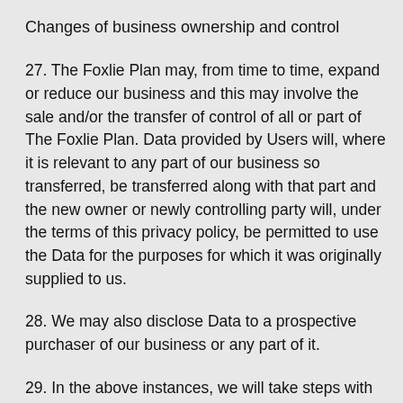Changes of business ownership and control
27. The Foxlie Plan may, from time to time, expand or reduce our business and this may involve the sale and/or the transfer of control of all or part of The Foxlie Plan. Data provided by Users will, where it is relevant to any part of our business so transferred, be transferred along with that part and the new owner or newly controlling party will, under the terms of this privacy policy, be permitted to use the Data for the purposes for which it was originally supplied to us.
28. We may also disclose Data to a prospective purchaser of our business or any part of it.
29. In the above instances, we will take steps with the aim of ensuring your privacy is protected.
Cookies